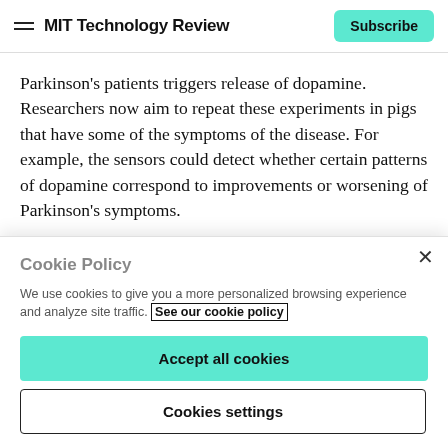MIT Technology Review | Subscribe
Parkinson’s patients triggers release of dopamine. Researchers now aim to repeat these experiments in pigs that have some of the symptoms of the disease. For example, the sensors could detect whether certain patterns of dopamine correspond to improvements or worsening of Parkinson’s symptoms.
“We have to get more nuanced understanding of how
Cookie Policy
We use cookies to give you a more personalized browsing experience and analyze site traffic. See our cookie policy
Accept all cookies
Cookies settings